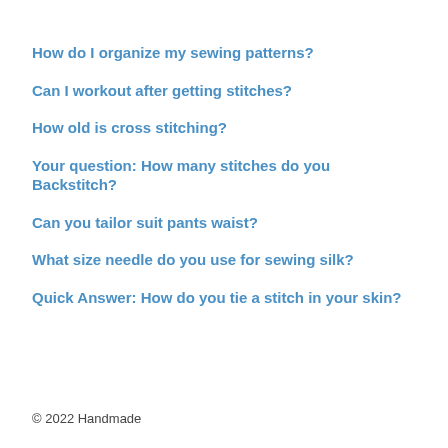How do I organize my sewing patterns?
Can I workout after getting stitches?
How old is cross stitching?
Your question: How many stitches do you Backstitch?
Can you tailor suit pants waist?
What size needle do you use for sewing silk?
Quick Answer: How do you tie a stitch in your skin?
© 2022 Handmade